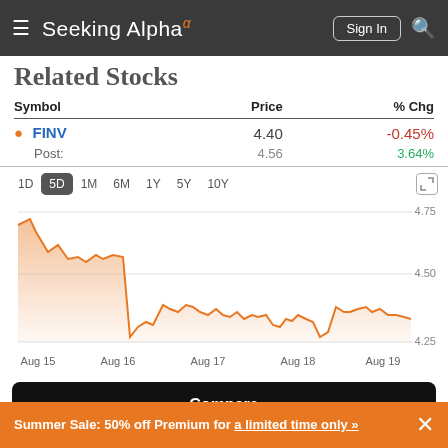Seeking Alpha
Related Stocks
| Symbol | Price | % Chg |
| --- | --- | --- |
| FINV | 4.40 | -0.45% |
| Post: | 4.56 | 3.64% |
[Figure (line-chart): FINV 5D price chart]
Compare
Summer Sale: 50% off Premium for a limited time only »